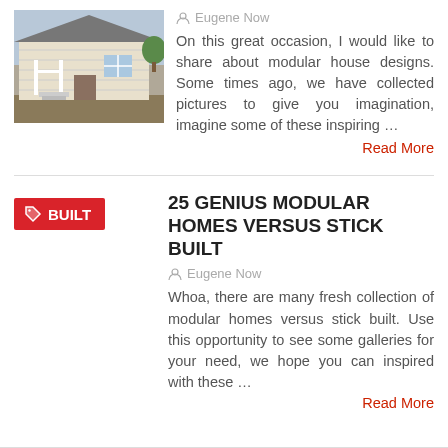[Figure (photo): Photo of a modular house with a porch and white railings, exterior view]
Eugene Now
On this great occasion, I would like to share about modular house designs. Some times ago, we have collected pictures to give you imagination, imagine some of these inspiring …
Read More
25 GENIUS MODULAR HOMES VERSUS STICK BUILT
Eugene Now
Whoa, there are many fresh collection of modular homes versus stick built. Use this opportunity to see some galleries for your need, we hope you can inspired with these …
Read More